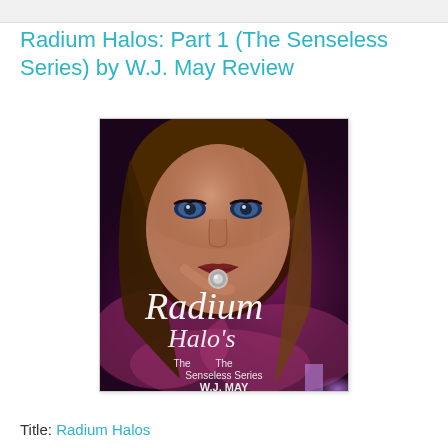Radium Halos: Part 1 (The Senseless Series) by W.J. May Review
[Figure (photo): Book cover for 'Radium Halo's – The Senseless Series by W.J. May', showing a close-up of a young woman with blue eyes and blonde hair holding a ring near her lips, with purple lightning and pink floral background. White script text reads 'Radium Halo's The Senseless Series W.J. May'.]
Title: Radium Halos